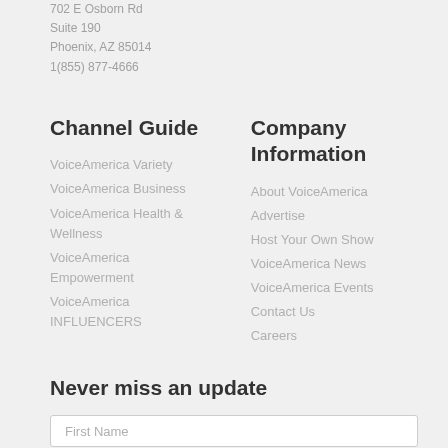702 E Osborn Rd
Suite 190
Phoenix, AZ 85014
1(855) 877-4666
Channel Guide
VoiceAmerica Variety
VoiceAmerica Business
VoiceAmerica Health & Wellness
VoiceAmerica Empowerment
VoiceAmerica INFLUENCERS
Company Information
About VoiceAmerica
Advertise
Host Your Own Show
VoiceAmerica News
VoiceAmerica Events
Contact Us
Careers
Never miss an update
First Name